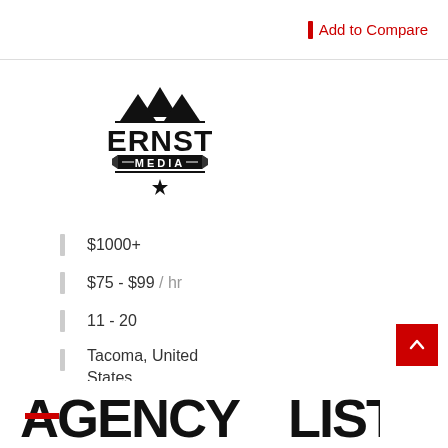Add to Compare
[Figure (logo): Ernst Media logo with mountain peaks above text ERNST MEDIA in a badge style with a star at the bottom]
$1000+
$75 - $99 / hr
11 - 20
Tacoma, United States
[Figure (logo): AGENCYLIST logo in large bold black text with a red horizontal line replacing the letter A's crossbar]